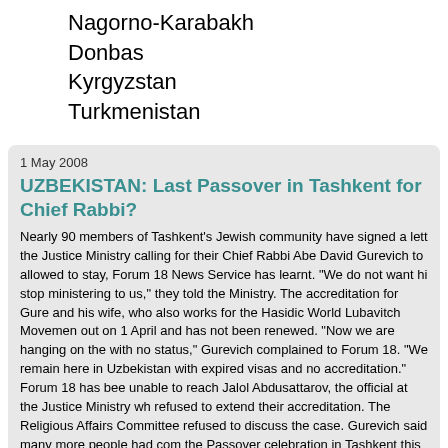Nagorno-Karabakh
Donbas
Kyrgyzstan
Turkmenistan
1 May 2008
UZBEKISTAN: Last Passover in Tashkent for Chief Rabbi?
Nearly 90 members of Tashkent's Jewish community have signed a letter to the Justice Ministry calling for their Chief Rabbi Abe David Gurevich to be allowed to stay, Forum 18 News Service has learnt. "We do not want him to stop ministering to us," they told the Ministry. The accreditation for Gurevich and his wife, who also works for the Hasidic World Lubavitch Movement, ran out on 1 April and has not been renewed. "Now we are hanging on the edge with no status," Gurevich complained to Forum 18. "We remain here in Uzbekistan with expired visas and no accreditation." Forum 18 has been unable to reach Jalol Abdusattarov, the official at the Justice Ministry who refused to extend their accreditation. The Religious Affairs Committee also refused to discuss the case. Gurevich said many more people had come to the Passover celebration in Tashkent this April than usual. "It may be that they were afraid that they would not be able to see us again." In recent years Uzbekistan has expelled foreign citizens who have been working with religious communities.